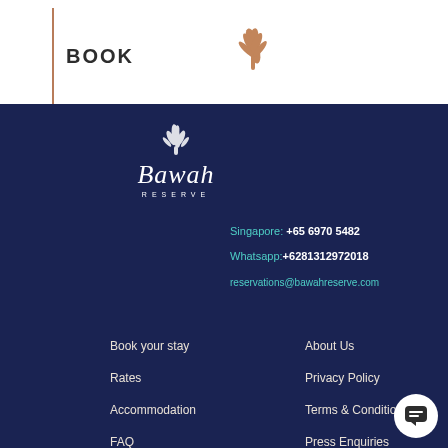BOOK
[Figure (logo): Bawah Reserve coral/leaf logo icon in rose gold color]
[Figure (logo): Bawah Reserve text logo with tree illustration in white on dark navy background]
Singapore: +65 6970 5482
Whatsapp: +6281312972018
reservations@bawahreserve.com
Book your stay
Rates
Accommodation
FAQ
Contact us
About Us
Privacy Policy
Terms & Conditions
Press Enquiries
Subscribe for updates
Enter email...